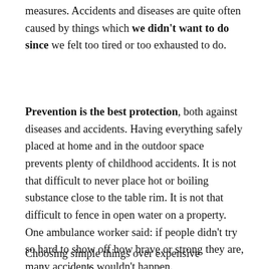measures. Accidents and diseases are quite often caused by things which we didn't want to do since we felt too tired or too exhausted to do.
Prevention is the best protection, both against diseases and accidents. Having everything safely placed at home and in the outdoor space prevents plenty of childhood accidents. It is not that difficult to never place hot or boiling substance close to the table rim. It is not that difficult to fence in open water on a property. One ambulance worker said: if people didn't try so hard to show off how brave or strong they are, many accidents wouldn't happen.
Choosing simple things over expensive equipment and...